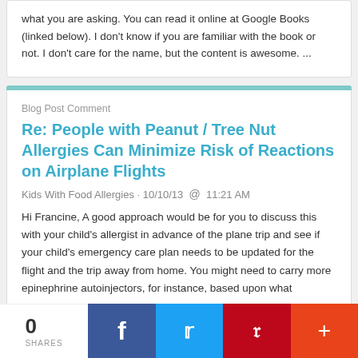what you are asking. You can read it online at Google Books (linked below). I don't know if you are familiar with the book or not. I don't care for the name, but the content is awesome. ...
Blog Post Comment
Re: People with Peanut / Tree Nut Allergies Can Minimize Risk of Reactions on Airplane Flights
Kids With Food Allergies · 10/10/13 @ 11:21 AM
Hi Francine, A good approach would be for you to discuss this with your child's allergist in advance of the plane trip and see if your child's emergency care plan needs to be updated for the flight and the trip away from home. You might need to carry more epinephrine autoinjectors, for instance, based upon what
0 SHARES